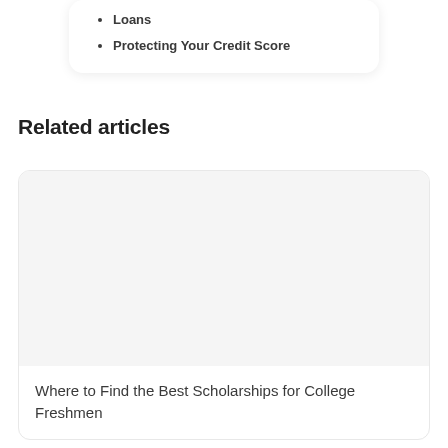Loans
Protecting Your Credit Score
Related articles
[Figure (photo): Article card image area (blank/light grey placeholder image)]
Where to Find the Best Scholarships for College Freshmen